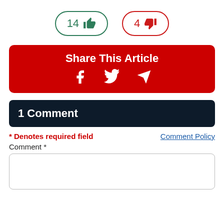[Figure (other): Two vote buttons: a green thumbs-up button showing '14' and a red thumbs-down button showing '4']
[Figure (infographic): Red 'Share This Article' banner with Facebook, Twitter, and Telegram icons]
1 Comment
* Denotes required field
Comment Policy
Comment *